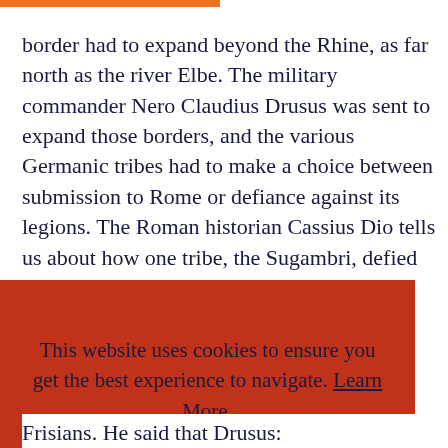border had to expand beyond the Rhine, as far north as the river Elbe. The military commander Nero Claudius Drusus was sent to expand those borders, and the various Germanic tribes had to make a choice between submission to Rome or defiance against its legions. The Roman historian Cassius Dio tells us about how one tribe, the Sugambri, defied Rome, so Claudius Drusus,
This website uses cookies to ensure you get the best experience to navigate. Learn More.

Accept
Frisians. He said that Drusus: